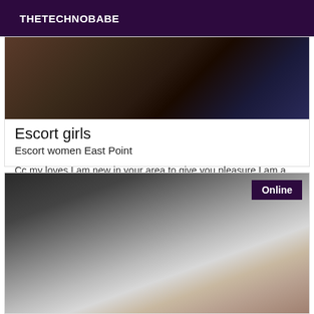THETECHNOBABE
[Figure (photo): Blurred/dark photo at top of card]
Escort girls
Escort women East Point
Cc my loves I am new in your area to give you pleasure I am a very sexual and sexy woman for more information please contact me
[Figure (photo): Blurred close-up photo at bottom of page with Online badge]
Online